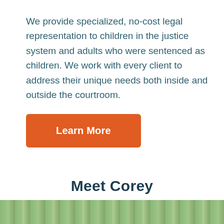We provide specialized, no-cost legal representation to children in the justice system and adults who were sentenced as children. We work with every client to address their unique needs both inside and outside the courtroom.
[Figure (other): Orange rectangular button with white bold text reading 'Learn More']
Meet Corey
[Figure (photo): Bottom strip showing green foliage/trees photo, partially cropped]